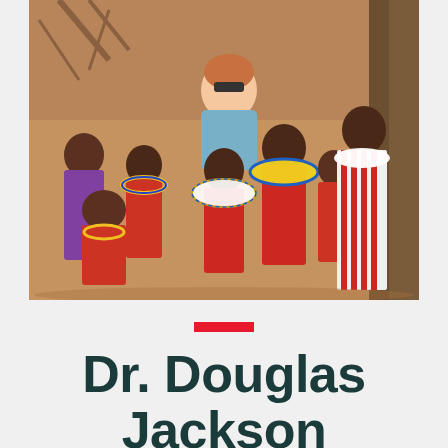[Figure (photo): A man in a light blue shirt crouching among a group of African children wearing traditional Maasai clothing with colorful beaded necklaces and garments, outdoors in a dry landscape.]
Dr. Douglas Jackson
Pu lu asia da